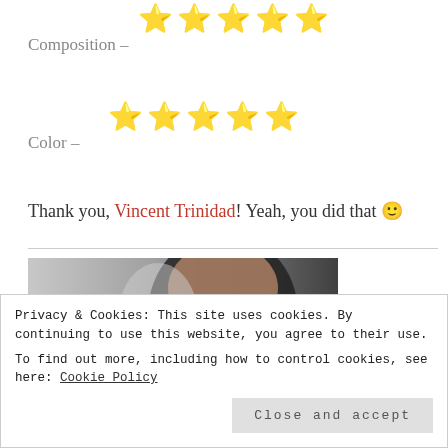★★★★★ Composition –
★★★★★ Color –
Thank you, Vincent Trinidad! Yeah, you did that 🙂
[Figure (photo): Photo of a man's face with a beard, tilted upward, grayscale background]
Privacy & Cookies: This site uses cookies. By continuing to use this website, you agree to their use. To find out more, including how to control cookies, see here: Cookie Policy
Close and accept